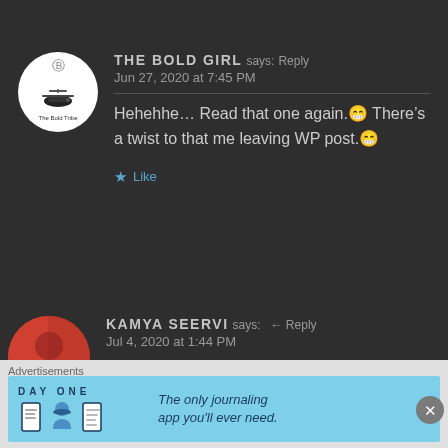THE BOLD GIRL says: Reply
Jun 27, 2020 at 7:45 PM

Hehehhe… Read that one again.😄 There's a twist to that me leaving WP post.😄

★ Like
KAMYA SEERVI says: ← Reply
Jul 4, 2020 at 1:44 PM
Advertisements
[Figure (screenshot): Advertisement banner for DAY ONE journaling app with text 'The only journaling app you'll ever need.']